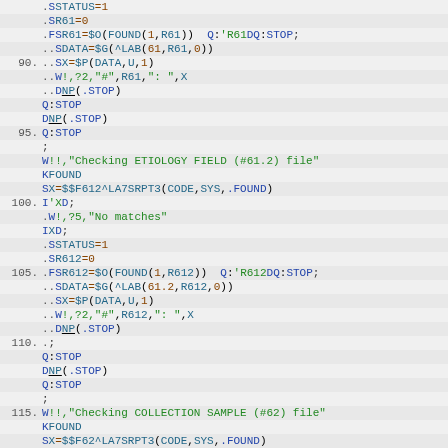Code listing: MUMPS/M programming language source code, lines approximately 88-117, showing lab data checking routines for ETIOLOGY FIELD (#61.2) and COLLECTION SAMPLE (#62) files.